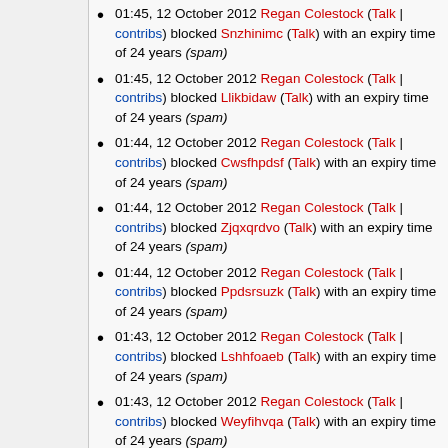01:45, 12 October 2012 Regan Colestock (Talk | contribs) blocked Snzhinimc (Talk) with an expiry time of 24 years (spam)
01:45, 12 October 2012 Regan Colestock (Talk | contribs) blocked Llikbidaw (Talk) with an expiry time of 24 years (spam)
01:44, 12 October 2012 Regan Colestock (Talk | contribs) blocked Cwsfhpdsf (Talk) with an expiry time of 24 years (spam)
01:44, 12 October 2012 Regan Colestock (Talk | contribs) blocked Zjqxqrdvo (Talk) with an expiry time of 24 years (spam)
01:44, 12 October 2012 Regan Colestock (Talk | contribs) blocked Ppdsrsuzk (Talk) with an expiry time of 24 years (spam)
01:43, 12 October 2012 Regan Colestock (Talk | contribs) blocked Lshhfoaeb (Talk) with an expiry time of 24 years (spam)
01:43, 12 October 2012 Regan Colestock (Talk | contribs) blocked Weyfihvqa (Talk) with an expiry time of 24 years (spam)
01:43, 12 October 2012 Regan Colestock (Talk | contribs) blocked Uomeenmrq